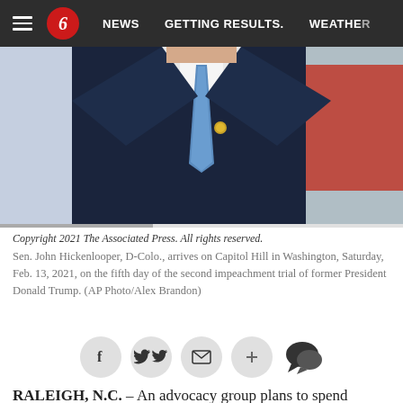≡  6  NEWS  GETTING RESULTS.  WEATHER
[Figure (photo): Man in dark navy suit with blue tie and gold pin on lapel, arriving at Capitol Hill. Red background element visible to right.]
Copyright 2021 The Associated Press. All rights reserved.
Sen. John Hickenlooper, D-Colo., arrives on Capitol Hill in Washington, Saturday, Feb. 13, 2021, on the fifth day of the second impeachment trial of former President Donald Trump. (AP Photo/Alex Brandon)
RALEIGH, N.C. – An advocacy group plans to spend millions next year to elect more doctors, scientists and other professionals to office, arguing the pandemic and Donald